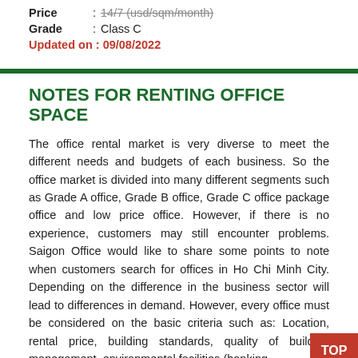Price : 14/7 (usd/sqm/month)
Grade : Class C
Updated on : 09/08/2022
NOTES FOR RENTING OFFICE SPACE
The office rental market is very diverse to meet the different needs and budgets of each business. So the office market is divided into many different segments such as Grade A office, Grade B office, Grade C office package office and low price office. However, if there is no experience, customers may still encounter problems. Saigon Office would like to share some points to note when customers search for offices in Ho Chi Minh City. Depending on the difference in the business sector will lead to differences in demand. However, every office must be considered on the basic criteria such as: Location, rental price, building standards, quality of building management, environmental facilities (banking